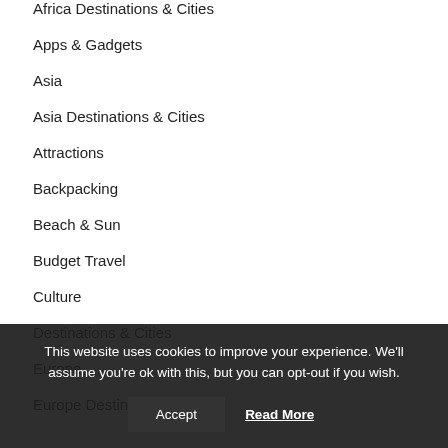Africa Destinations & Cities
Apps & Gadgets
Asia
Asia Destinations & Cities
Attractions
Backpacking
Beach & Sun
Budget Travel
Culture
Destinations & Cities
Europe
Europe Destinations & Cities
This website uses cookies to improve your experience. We'll assume you're ok with this, but you can opt-out if you wish.
Accept
Read More